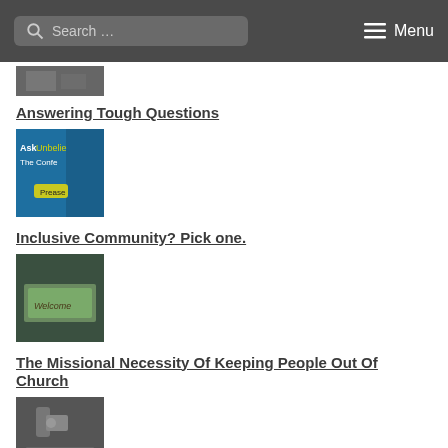Search ... Menu
[Figure (photo): Partial thumbnail image at top, partially cut off]
Answering Tough Questions
[Figure (photo): Thumbnail image for Answering Tough Questions article - blue background with text 'Ask Unbelieve The Confe...' and a Prease button]
Inclusive Community? Pick one.
[Figure (photo): Thumbnail image for Inclusive Community article - dark green background with a sign saying 'Welcome']
The Missional Necessity Of Keeping People Out Of Church
[Figure (photo): Thumbnail image for Missional Necessity article - grey/dark image with padlock or chain]
Getting Pentecostal
[Figure (photo): Thumbnail image for Getting Pentecostal article - dark image with person and 'peaklife' text, podcast branding]